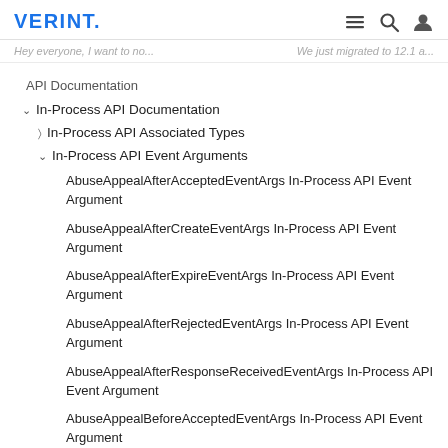VERINT. | Hey everyone, I want to no... | We just migrated to 12.1 a...
API Documentation
In-Process API Documentation
In-Process API Associated Types
In-Process API Event Arguments
AbuseAppealAfterAcceptedEventArgs In-Process API Event Argument
AbuseAppealAfterCreateEventArgs In-Process API Event Argument
AbuseAppealAfterExpireEventArgs In-Process API Event Argument
AbuseAppealAfterRejectedEventArgs In-Process API Event Argument
AbuseAppealAfterResponseReceivedEventArgs In-Process API Event Argument
AbuseAppealBeforeAcceptedEventArgs In-Process API Event Argument
AbuseAppealBeforeCreateEventArgs In-Process API Event...